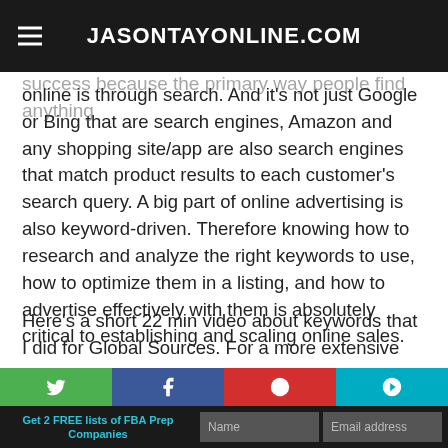JASONTAYONLINE.COM
keywords enough to be the foundation to success online success because the primary way people find anything online is through search. And it's not just Google or Bing that are search engines, Amazon and any shopping site/app are also search engines that match product results to each customer's search query. A big part of online advertising is also keyword-driven. Therefore knowing how to research and analyze the right keywords to use, how to optimize them in a listing, and how to advertise effectively with them is absolutely critical to establishing and scaling online sales.
Here's a short 22 min video about keywords that I did for Global Sources. For a more extensive video and write-up I have a page that covers keywords and how they are the foundational key to successful online sales.
Get 2 FREE lists of FBA Prep Companies